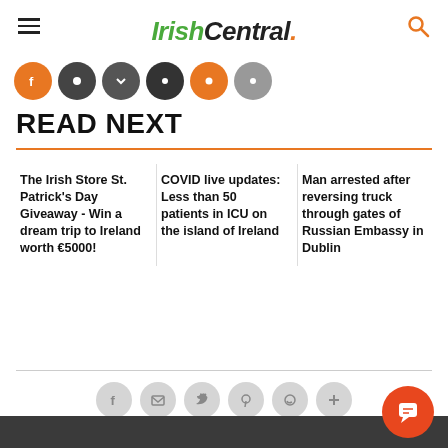IrishCentral.
[Figure (other): Row of colored social media icon circles (orange, dark, dark, dark, orange, gray)]
READ NEXT
The Irish Store St. Patrick’s Day Giveaway - Win a dream trip to Ireland worth €5000!
COVID live updates: Less than 50 patients in ICU on the island of Ireland
Man arrested after reversing truck through gates of Russian Embassy in Dublin
[Figure (other): Row of gray social media sharing icon circles (Facebook, Email, Twitter, Pinterest, WhatsApp, Plus)]